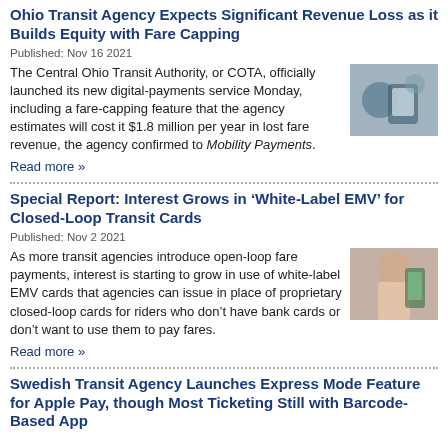Ohio Transit Agency Expects Significant Revenue Loss as it Builds Equity with Fare Capping
Published: Nov 16 2021
The Central Ohio Transit Authority, or COTA, officially launched its new digital-payments service Monday, including a fare-capping feature that the agency estimates will cost it $1.8 million per year in lost fare revenue, the agency confirmed to Mobility Payments.
Read more »
Special Report: Interest Grows in ‘White-Label EMV’ for Closed-Loop Transit Cards
Published: Nov 2 2021
As more transit agencies introduce open-loop fare payments, interest is starting to grow in use of white-label EMV cards that agencies can issue in place of proprietary closed-loop cards for riders who don’t have bank cards or don’t want to use them to pay fares.
Read more »
Swedish Transit Agency Launches Express Mode Feature for Apple Pay, though Most Ticketing Still with Barcode-Based App